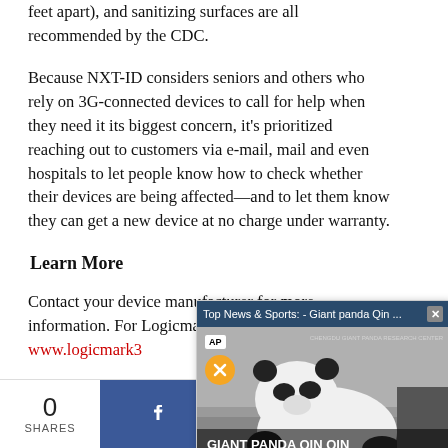feet apart), and sanitizing surfaces are all recommended by the CDC.
Because NXT-ID considers seniors and others who rely on 3G-connected devices to call for help when they need it its biggest concern, it's prioritized reaching out to customers via e-mail, mail and even hospitals to let people know how to check whether their devices are being affected—and to let them know they can get a new device at no charge under warranty.
Learn More
Contact your device manufacturer for more information. For Logicmark customers, see www.logicmark3...
[Figure (screenshot): A video popup overlay showing AP news story: 'Top News & Sports: - Giant panda Qin ...' with a panda image and text 'GIANT PANDA QIN QIN GIVES BIRTH TO TWINS']
0 SHARES